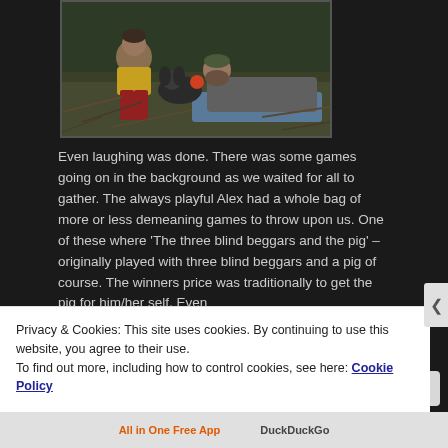[Figure (photo): Two people and a dog outdoors in a grassy/wooded area; one person in yellow/red clothing crouching, one bearded man lying on a blue mat, seemingly interacting with the dog]
Even laughing was done. There was some games going on in the background as we waited for all to gather. The always playful Alex had a whole bag of more or less demeaning games to throw upon us. One of these where 'The three blind beggars and the pig' – originally played with three blind beggars and a pig of course. The winners price was traditionally to get the pig for him/her self. Even
Privacy & Cookies: This site uses cookies. By continuing to use this website, you agree to their use.
To find out more, including how to control cookies, see here: Cookie Policy
Close and accept
All in One Free App   DuckDuckGo